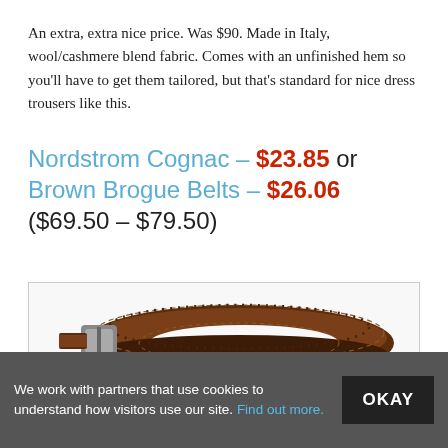An extra, extra nice price. Was $90. Made in Italy, wool/cashmere blend fabric. Comes with an unfinished hem so you'll have to get them tailored, but that's standard for nice dress trousers like this.
Nordstrom Cognac – $23.85 or Brown Brogue Belts – $26.06 ($69.50 – $79.50)
[Figure (photo): A coiled brown leather brogue belt with stitching detail and a silver buckle, photographed on a white background inside a bordered box.]
We work with partners that use cookies to understand how visitors use our site. Find out more.